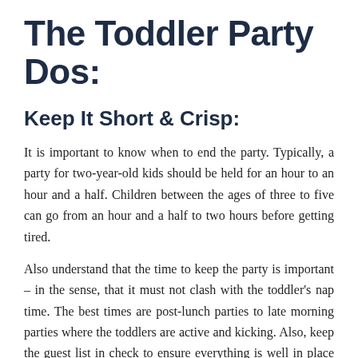The Toddler Party Dos:
Keep It Short & Crisp:
It is important to know when to end the party. Typically, a party for two-year-old kids should be held for an hour to an hour and a half. Children between the ages of three to five can go from an hour and a half to two hours before getting tired.
Also understand that the time to keep the party is important – in the sense, that it must not clash with the toddler's nap time. The best times are post-lunch parties to late morning parties where the toddlers are active and kicking. Also, keep the guest list in check to ensure everything is well in place and arranged.